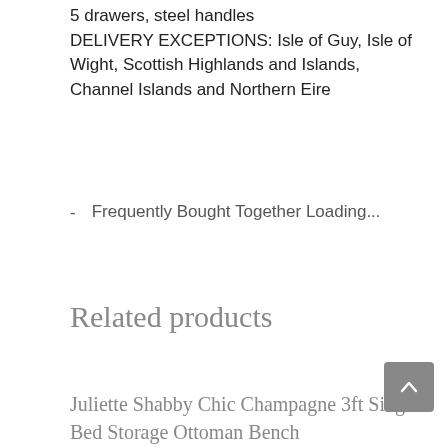5 drawers, steel handles
DELIVERY EXCEPTIONS: Isle of Guy, Isle of Wight, Scottish Highlands and Islands, Channel Islands and Northern Eire
Frequently Bought Together Loading...
Related products
Juliette Shabby Chic Champagne 3ft Single Bed Storage Ottoman Bench